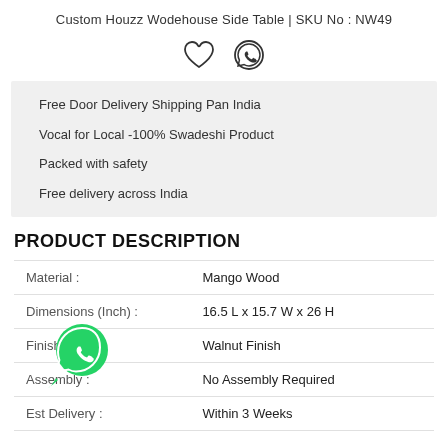Custom Houzz Wodehouse Side Table | SKU No : NW49
[Figure (illustration): Heart icon and WhatsApp icon in a row]
Free Door Delivery Shipping Pan India
Vocal for Local -100% Swadeshi Product
Packed with safety
Free delivery across India
PRODUCT DESCRIPTION
| Material : | Mango Wood |
| Dimensions (Inch) : | 16.5 L x 15.7 W x 26 H |
| Finish : | Walnut Finish |
| Assembly : | No Assembly Required |
| Est Delivery : | Within 3 Weeks |
[Figure (logo): WhatsApp floating button (green circle with phone icon)]